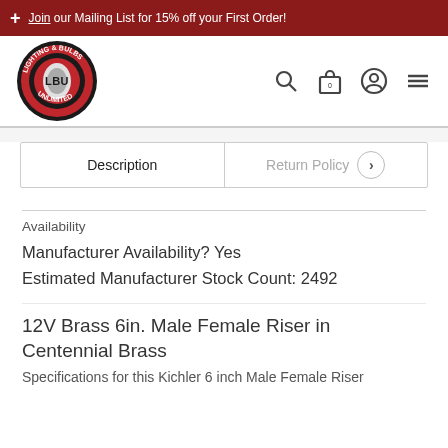Join our Mailing List for 15% off your First Order!
[Figure (logo): Lighting and Bulbs Unlimited (LBU) circular red and black logo]
Description | Return Policy
Availability
Manufacturer Availability? Yes
Estimated Manufacturer Stock Count: 2492
12V Brass 6in. Male Female Riser in Centennial Brass
Specifications for this Kichler 6 inch Male Female Riser